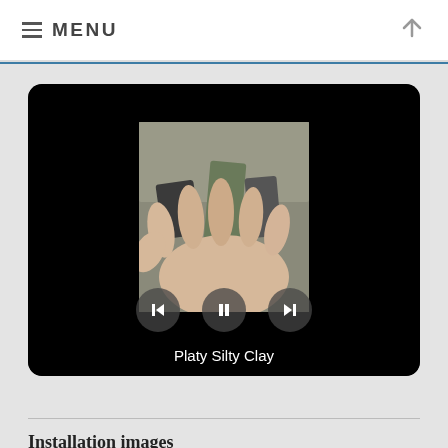MENU
[Figure (screenshot): Video player showing a hand holding platy silty clay rock samples, with playback controls (back, pause, forward) and caption 'Platy Silty Clay']
Installation images